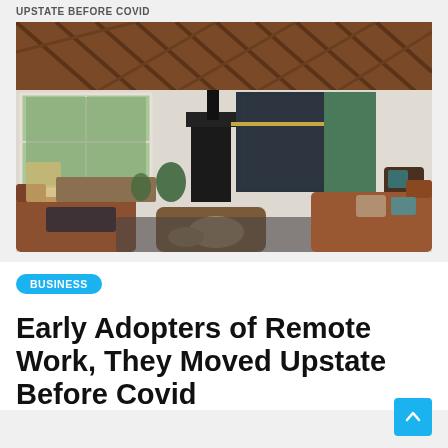UPSTATE BEFORE COVID
[Figure (photo): Interior living room photo showing a rustic space with exposed wood beam ceiling, leather sofas, a black wood-burning stove, barn doors, and large windows with green trees outside.]
BUSINESS
Early Adopters of Remote Work, They Moved Upstate Before Covid